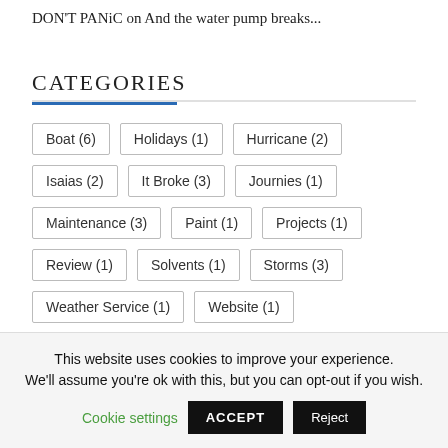DON'T PANiC on And the water pump breaks...
CATEGORIES
Boat (6)
Holidays (1)
Hurricane (2)
Isaias (2)
It Broke (3)
Journies (1)
Maintenance (3)
Paint (1)
Projects (1)
Review (1)
Solvents (1)
Storms (3)
Weather Service (1)
Website (1)
This website uses cookies to improve your experience. We'll assume you're ok with this, but you can opt-out if you wish. Cookie settings ACCEPT Reject